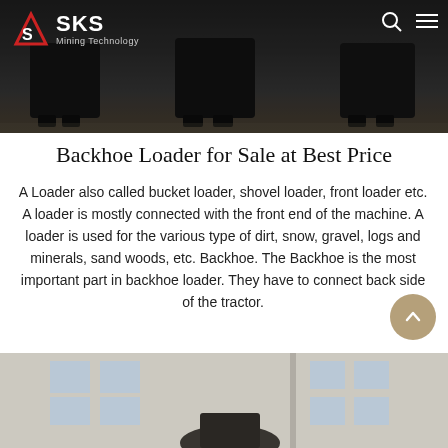[Figure (photo): Header photo showing multiple excavator/loader buckets lined up in an industrial warehouse setting, with SKS Mining Technology logo and navigation icons overlaid]
Backhoe Loader for Sale at Best Price
A Loader also called bucket loader, shovel loader, front loader etc. A loader is mostly connected with the front end of the machine. A loader is used for the various type of dirt, snow, gravel, logs and minerals, sand woods, etc. Backhoe. The Backhoe is the most important part in backhoe loader. They have to connect back side of the tractor.
[Figure (photo): Bottom partial photo showing a building exterior with white walls and windows, and what appears to be machinery or equipment in the foreground]